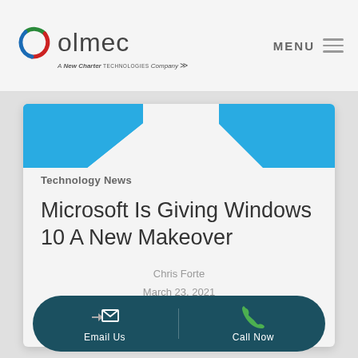[Figure (logo): Olmec logo with circular icon and text 'olmec - A New Charter Technologies Company']
MENU
[Figure (illustration): Blue decorative diagonal shapes in upper corners of card]
Technology News
Microsoft Is Giving Windows 10 A New Makeover
Chris Forte
March 23, 2021
[Figure (infographic): Dark teal rounded pill CTA bar with Email Us and Call Now buttons with icons]